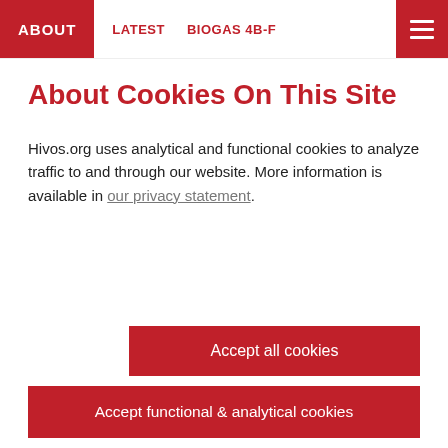ABOUT   LATEST   BIOGAS 4B-F
About Cookies On This Site
Hivos.org uses analytical and functional cookies to analyze traffic to and through our website. More information is available in our privacy statement.
Accept all cookies
Accept functional & analytical cookies